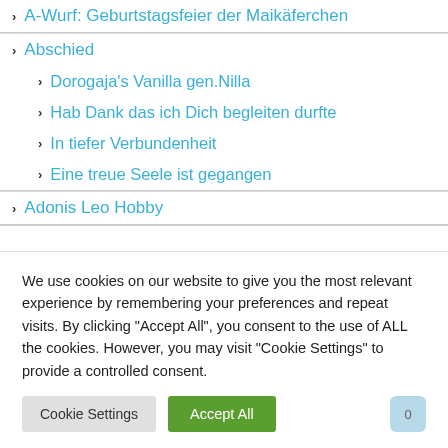A-Wurf: Geburtstagsfeier der Maikäferchen
Abschied
Dorogaja's Vanilla gen.Nilla
Hab Dank das ich Dich begleiten durfte
In tiefer Verbundenheit
Eine treue Seele ist gegangen
Adonis Leo Hobby
We use cookies on our website to give you the most relevant experience by remembering your preferences and repeat visits. By clicking "Accept All", you consent to the use of ALL the cookies. However, you may visit "Cookie Settings" to provide a controlled consent.